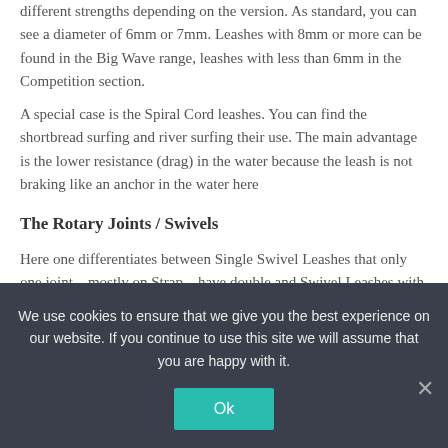different strengths depending on the version. As standard, you can see a diameter of 6mm or 7mm. Leashes with 8mm or more can be found in the Big Wave range, leashes with less than 6mm in the Competition section.
A special case is the Spiral Cord leashes. You can find the shortbread surfing and river surfing their use. The main advantage is the lower resistance (drag) in the water because the leash is not braking like an anchor in the water here
The Rotary Joints / Swivels
Here one differentiates between Single Swivel Leashes that only one joint – mostly on Strap – have double and Swivel Leashes with a joint on the strap and the Rail Saver. The Swivels should be of
We use cookies to ensure that we give you the best experience on our website. If you continue to use this site we will assume that you are happy with it.
Ok